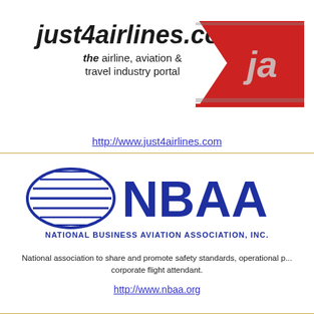[Figure (logo): just4airlines.com logo — bold italic text with red chevron/tail graphic and 'ja' monogram, tagline: the airline, aviation & travel industry portal]
http://www.just4airlines.com
[Figure (logo): NBAA National Business Aviation Association, Inc. logo — dark blue globe/oval with horizontal stripes and bold NBAA text, full name below]
National association to share and promote safety standards, operational p... corporate flight attendant.
http://www.nbaa.org